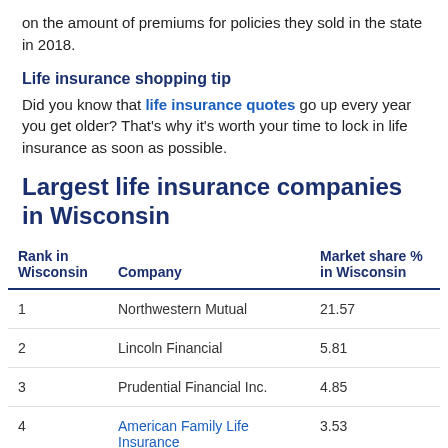on the amount of premiums for policies they sold in the state in 2018.
Life insurance shopping tip
Did you know that life insurance quotes go up every year you get older? That's why it's worth your time to lock in life insurance as soon as possible.
Largest life insurance companies in Wisconsin
| Rank in Wisconsin | Company | Market share % in Wisconsin |
| --- | --- | --- |
| 1 | Northwestern Mutual | 21.57 |
| 2 | Lincoln Financial | 5.81 |
| 3 | Prudential Financial Inc. | 4.85 |
| 4 | American Family Life Insurance | 3.53 |